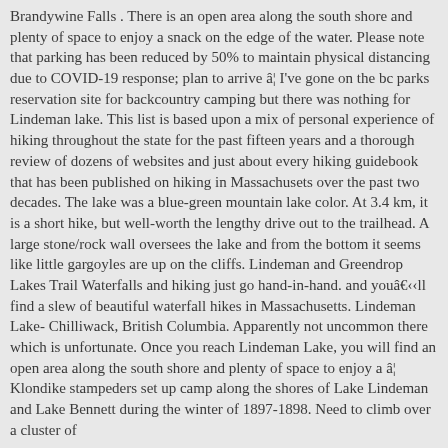Brandywine Falls . There is an open area along the south shore and plenty of space to enjoy a snack on the edge of the water. Please note that parking has been reduced by 50% to maintain physical distancing due to COVID-19 response; plan to arrive â¦ I've gone on the bc parks reservation site for backcountry camping but there was nothing for Lindeman lake. This list is based upon a mix of personal experience of hiking throughout the state for the past fifteen years and a thorough review of dozens of websites and just about every hiking guidebook that has been published on hiking in Massachusets over the past two decades. The lake was a blue-green mountain lake color. At 3.4 km, it is a short hike, but well-worth the lengthy drive out to the trailhead. A large stone/rock wall oversees the lake and from the bottom it seems like little gargoyles are up on the cliffs. Lindeman and Greendrop Lakes Trail Waterfalls and hiking just go hand-in-hand. and youâll find a slew of beautiful waterfall hikes in Massachusetts. Lindeman Lake- Chilliwack, British Columbia. Apparently not uncommon there which is unfortunate. Once you reach Lindeman Lake, you will find an open area along the south shore and plenty of space to enjoy a â¦ Klondike stampeders set up camp along the shores of Lake Lindeman and Lake Bennett during the winter of 1897-1898. Need to climb over a cluster of